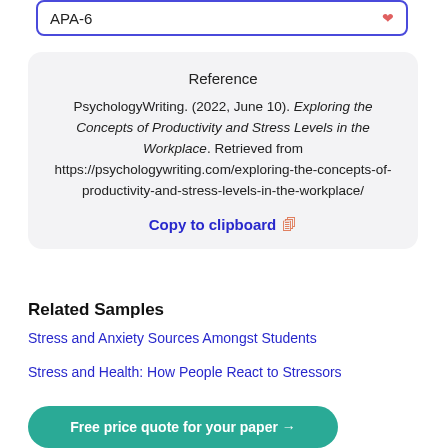APA-6
Reference
PsychologyWriting. (2022, June 10). Exploring the Concepts of Productivity and Stress Levels in the Workplace. Retrieved from https://psychologywriting.com/exploring-the-concepts-of-productivity-and-stress-levels-in-the-workplace/
Copy to clipboard
Related Samples
Stress and Anxiety Sources Amongst Students
Stress and Health: How People React to Stressors
Free price quote for your paper →